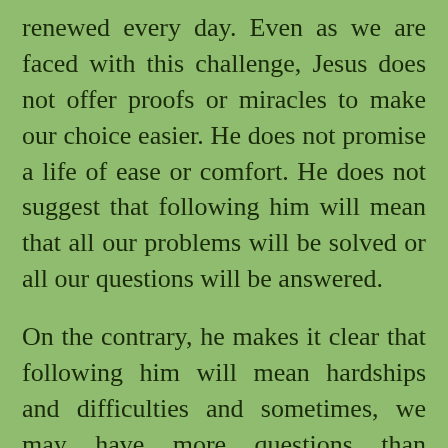renewed every day. Even as we are faced with this challenge, Jesus does not offer proofs or miracles to make our choice easier. He does not promise a life of ease or comfort. He does not suggest that following him will mean that all our problems will be solved or all our questions will be answered.
On the contrary, he makes it clear that following him will mean hardships and difficulties and sometimes, we may have more questions than answers. He makes it clear that following him will mean that the road ahead may not always be even or the going smooth. He, however,